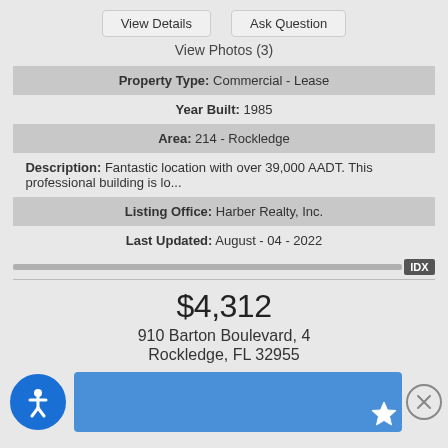View Details | Ask Question
View Photos (3)
| Property Type: Commercial - Lease |
| Year Built: 1985 |
| Area: 214 - Rockledge |
| Description: Fantastic location with over 39,000 AADT. This professional building is lo... |
| Listing Office: Harber Realty, Inc. |
| Last Updated: August - 04 - 2022 |
$4,312
910 Barton Boulevard, 4
Rockledge, FL 32955